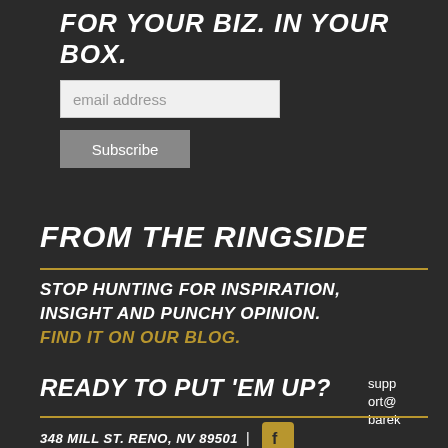FOR YOUR BIZ. IN YOUR BOX.
email address
Subscribe
FROM THE RINGSIDE
STOP HUNTING FOR INSPIRATION, INSIGHT AND PUNCHY OPINION. FIND IT ON OUR BLOG.
READY TO PUT 'EM UP?
348 MILL ST. RENO, NV 89501
support@barek